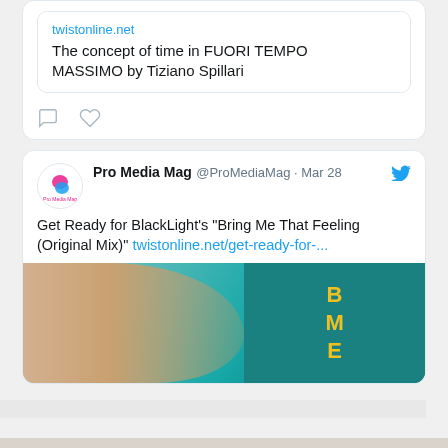twistonline.net
The concept of time in FUORI TEMPO MASSIMO by Tiziano Spillari
Pro Media Mag @ProMediaMag · Mar 28
Get Ready for BlackLight's “Bring Me That Feeling (Original Mix)” twistonline.net/get-ready-for-...
[Figure (photo): Partial image preview of a music article, showing a person's arm and a teal/green background with partial text]
[Figure (photo): Sale advertisement banner with beige background, expand icon, white image box with clothing on hanger, and black circular SALE badge]